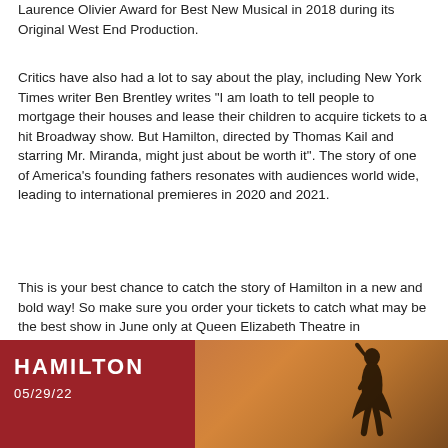Laurence Olivier Award for Best New Musical in 2018 during its Original West End Production.
Critics have also had a lot to say about the play, including New York Times writer Ben Brentley writes "I am loath to tell people to mortgage their houses and lease their children to acquire tickets to a hit Broadway show. But Hamilton, directed by Thomas Kail and starring Mr. Miranda, might just about be worth it". The story of one of America's founding fathers resonates with audiences world wide, leading to international premieres in 2020 and 2021.
This is your best chance to catch the story of Hamilton in a new and bold way! So make sure you order your tickets to catch what may be the best show in June only at Queen Elizabeth Theatre in Vancouver, Canada!
[Figure (infographic): Hamilton promotional banner with dark red left panel showing 'HAMILTON' title and date '05/29/22', and right panel showing golden-brown textured background with a silhouette of a figure raising one hand.]